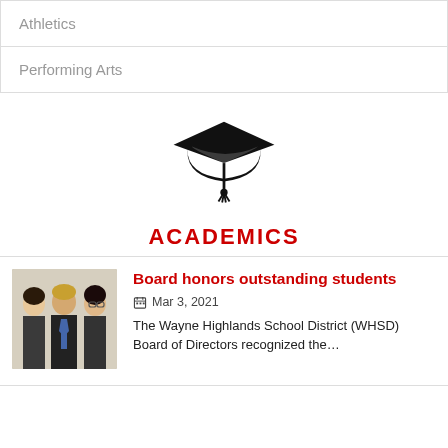| Athletics |
| Performing Arts |
[Figure (illustration): Black graduation cap icon with tassel]
ACADEMICS
[Figure (photo): Three students posing together, two women and one man in formal attire]
Board honors outstanding students
Mar 3, 2021
The Wayne Highlands School District (WHSD) Board of Directors recognized the…